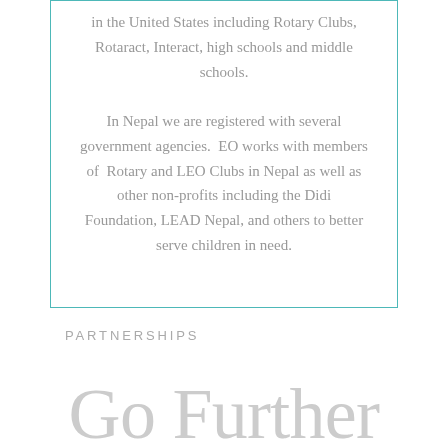in the United States including Rotary Clubs, Rotaract, Interact, high schools and middle schools.

In Nepal we are registered with several government agencies.  EO works with members of  Rotary and LEO Clubs in Nepal as well as other non-profits including the Didi Foundation, LEAD Nepal, and others to better serve children in need.
PARTNERSHIPS
Go Further